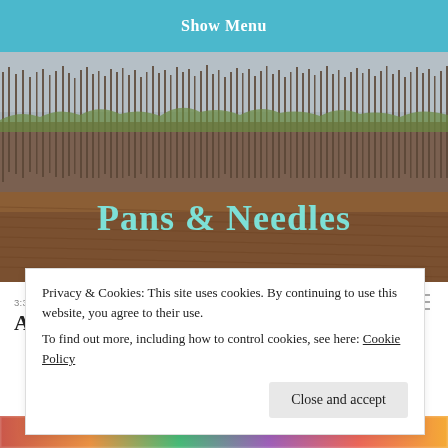Show Menu
[Figure (photo): Panoramic landscape photo showing bare winter trees silhouetted against a grey sky, with a brown plowed field in the foreground. The text 'Pans & Needles' is overlaid in teal/light blue serif font.]
Pans & Needles
3:38 PM · DECEMBER 24, 2013 · ANGELAH
A Swissmas miracle
Privacy & Cookies: This site uses cookies. By continuing to use this website, you agree to their use.
To find out more, including how to control cookies, see here: Cookie Policy
Close and accept